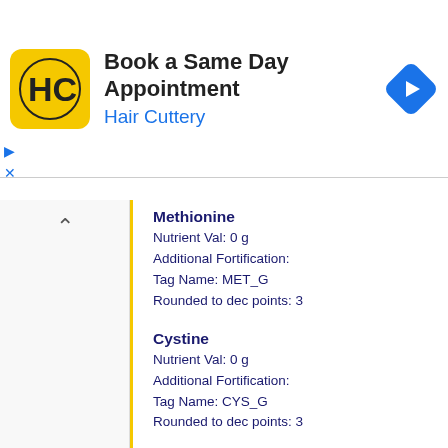[Figure (other): Hair Cuttery advertisement banner with logo, text 'Book a Same Day Appointment', 'Hair Cuttery', and a blue navigation arrow icon]
Methionine
Nutrient Val: 0 g
Additional Fortification:
Tag Name: MET_G
Rounded to dec points: 3
Cystine
Nutrient Val: 0 g
Additional Fortification:
Tag Name: CYS_G
Rounded to dec points: 3
Phenylalanine
Nutrient Val: 1 g
Additional Fortification:
Tag Name: PHE_G
Rounded to dec points: 3
Tyrosine